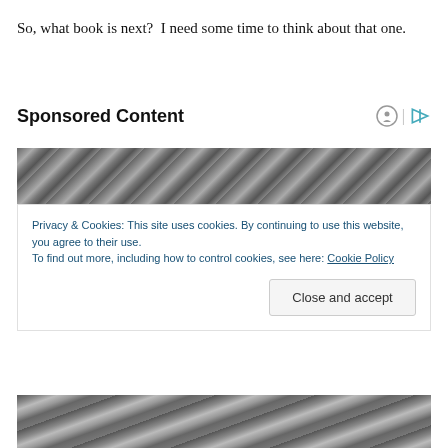So, what book is next?  I need some time to think about that one.
Sponsored Content
[Figure (photo): Black and white close-up photograph of a person's face (top portion, forehead and hair visible)]
Privacy & Cookies: This site uses cookies. By continuing to use this website, you agree to their use.
To find out more, including how to control cookies, see here: Cookie Policy
[Figure (photo): Black and white close-up photograph of a person's face (bottom portion visible)]